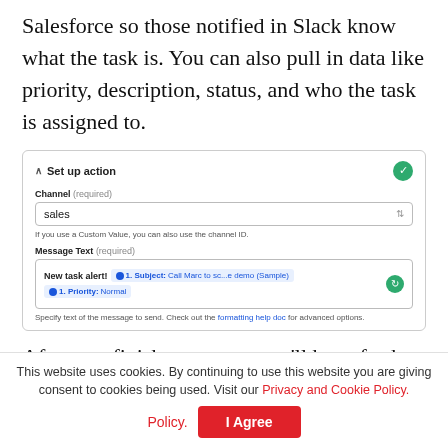Salesforce so those notified in Slack know what the task is. You can also pull in data like priority, description, status, and who the task is assigned to.
[Figure (screenshot): A UI screenshot showing a 'Set up action' panel with a Channel field set to 'sales' and a Message Text field containing 'New task alert!' followed by pills for '1. Subject: Call Marc to sc...e demo (Sample)' and '1. Priority: Normal', with a refresh button and hint text about formatting help doc.]
After you finish your text, you'll have further options to set up your message. For example, if you want the message to
This website uses cookies. By continuing to use this website you are giving consent to cookies being used. Visit our Privacy and Cookie Policy.